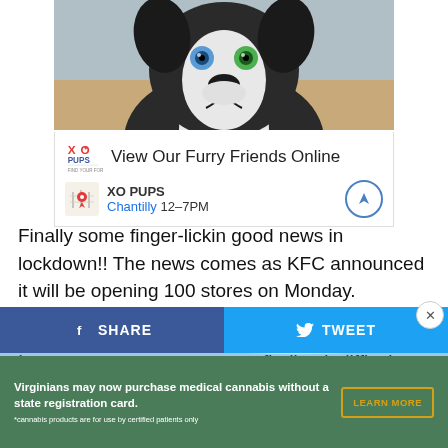[Figure (photo): Close-up photo of a Siberian Husky puppy with blue and green eyes, black and white fur, looking directly at camera]
View Our Furry Friends Online
XO PUPS
Chantilly 12–7PM
Finally some finger-lickin good news in lockdown!! The news comes as KFC announced it will be opening 100 stores on Monday.
In turns out, customers were finding it difficult to find their closest KFC restaurant with KFC's postcode checker, so the fired chicken chain decided to do us all a solid and
SHARE
TWEET
Virginians may now purchase medical cannabis without a state registration card.
*cannabis products are for use by certified patients only
LEARN MORE